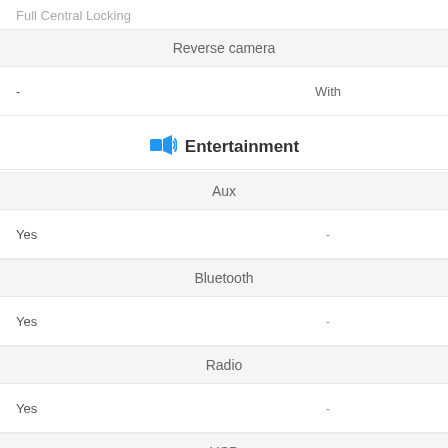Full Central Locking
| Reverse camera |  |
| --- | --- |
| - | With |
| Entertainment section header |  |
| Aux |  |
| Yes | - |
| Bluetooth |  |
| Yes | - |
| Radio |  |
| Yes | - |
| USB |  |
| Yes | - |
| Other |  |